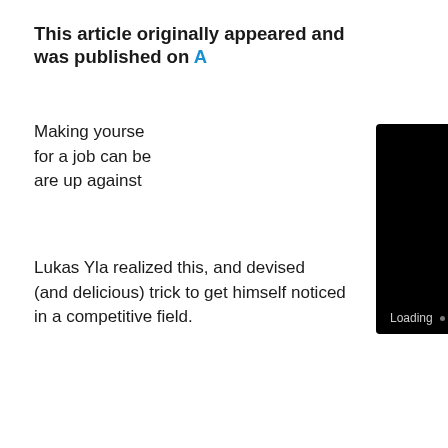This article originally appeared and was published on A[partially obscured]
Making yourself [obscured by video] for a job can be [obscured] are up against [obscured]
[Figure (screenshot): Video player overlay showing a black video screen with an 'Enable' button (with speaker icon) at the top center, a loading indicator at the bottom with 'Loading' text and progress dots, and a '10 seconds...' tooltip in the lower right.]
Lukas Yla realized this, and devised [obscured] (and delicious) trick to get himself noticed in a competitive field.